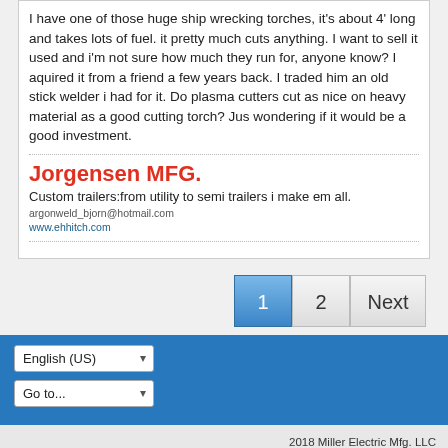I have one of those huge ship wrecking torches, it's about 4' long and takes lots of fuel. it pretty much cuts anything. I want to sell it used and i'm not sure how much they run for, anyone know? I aquired it from a friend a few years back. I traded him an old stick welder i had for it. Do plasma cutters cut as nice on heavy material as a good cutting torch? Jus wondering if it would be a good investment.
Jorgensen MFG.
Custom trailers:from utility to semi trailers i make em all.
argonweld_bjorn@hotmail.com
www.ehhitch.com
1  2  Next
English (US)
Go to...
2018 Miller Electric Mfg. LLC
Powered by vBulletin® Version 5.6.9
Copyright © 2022 vBulletin Solutions, Inc. All rights reserved.
All times are GMT-6. This page was generated at 11:09 PM.